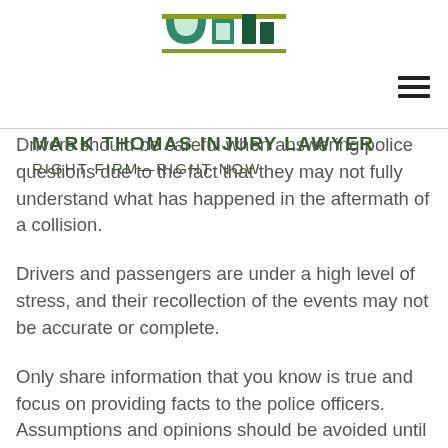[Figure (logo): Mark Thomas Injury Lawyer logo with green arch and square shapes above firm name]
MARK THOMAS INJURY LAWYER
RIGHT FIRM—RIGHT NOW
Drivers should be careful when answering police questions due to the fact that they may not fully understand what has happened in the aftermath of a collision.
Drivers and passengers are under a high level of stress, and their recollection of the events may not be accurate or complete.
Only share information that you know is true and focus on providing facts to the police officers. Assumptions and opinions should be avoided until you have time to take all of the evidence